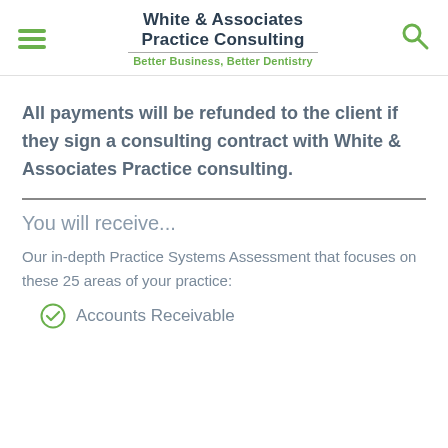White & Associates Practice Consulting — Better Business, Better Dentistry
All payments will be refunded to the client if they sign a consulting contract with White & Associates Practice consulting.
You will receive...
Our in-depth Practice Systems Assessment that focuses on these 25 areas of your practice:
Accounts Receivable